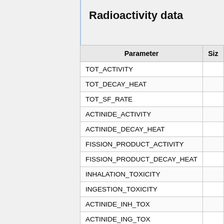Radioactivity data
| Parameter | Siz… |
| --- | --- |
| TOT_ACTIVITY |  |
| TOT_DECAY_HEAT |  |
| TOT_SF_RATE |  |
| ACTINIDE_ACTIVITY |  |
| ACTINIDE_DECAY_HEAT |  |
| FISSION_PRODUCT_ACTIVITY |  |
| FISSION_PRODUCT_DECAY_HEAT |  |
| INHALATION_TOXICITY |  |
| INGESTION_TOXICITY |  |
| ACTINIDE_INH_TOX |  |
| ACTINIDE_ING_TOX |  |
| FISSION_PRODUCT_INH_TOX |  |
| FISSION_PRODUCT_ING_TOX |  |